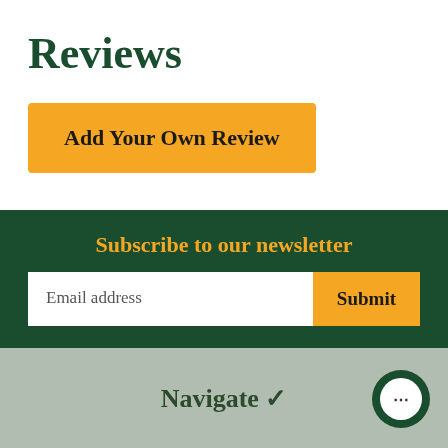Reviews
Add Your Own Review
Subscribe to our newsletter
Email address
Submit
Navigate ∨